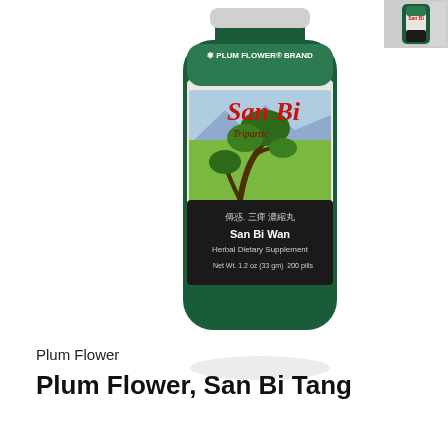[Figure (photo): Product photo of Plum Flower Brand San Bi Wan herbal supplement bottle. Dark green cylindrical bottle with label showing a bonsai tree illustration. Label reads: PLUM FLOWER BRAND, San Bi, Tripartic, Chinese characters, San Bi Wan, Herbal Dietary Supplement, Net Wt. 1.2 oz (33 gm), 200 pills]
[Figure (photo): Small thumbnail image in top right corner showing the same or similar Plum Flower product bottle]
Plum Flower
Plum Flower, San Bi Tang